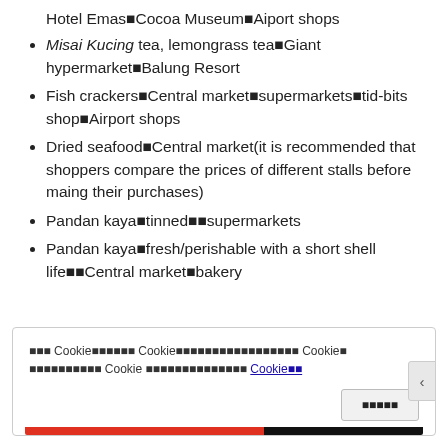Hotel Emas×Cocoa Museum×Aiport shops
Misai Kucing tea, lemongrass tea×Giant hypermarket×Balung Resort
Fish crackers×Central market×supermarkets×tid-bits shop×Airport shops
Dried seafood×Central market(it is recommended that shoppers compare the prices of different stalls before maing their purchases)
Pandan kaya×tinned××supermarkets
Pandan kaya×fresh/perishable with a short shell life××Central market×bakery
××× Cookie×××××× Cookie××××××××××××××××× Cookie× ×××××××××× Cookie ×××××××××××××× Cookie××